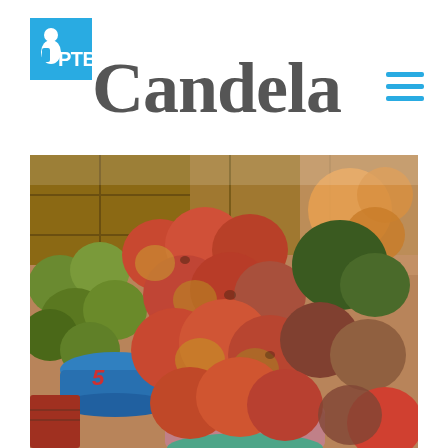[Figure (logo): PTB logo — cyan/blue square with figure icon and PTB text in bold cyan letters]
Candela
[Figure (other): Hamburger menu icon (three horizontal cyan lines) in top right corner]
[Figure (photo): Close-up photograph of colorful mangoes piled in bowls and baskets at a market stall, showing red, green, and yellow mangoes]